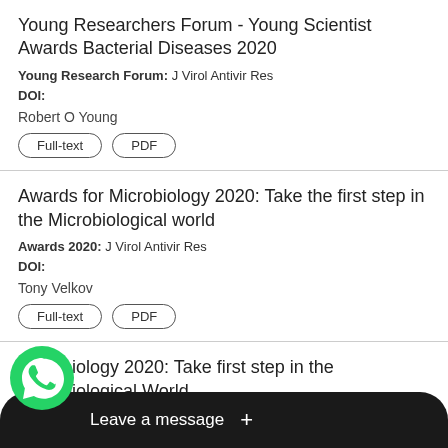Young Researchers Forum - Young Scientist Awards Bacterial Diseases 2020
Young Research Forum: J Virol Antivir Res
DOI:
Robert O Young
Awards for Microbiology 2020: Take the first step in the Microbiological world
Awards 2020: J Virol Antivir Res
DOI:
Tony Velkov
Microbiology 2020: Take first step in the Microbiological World
Analysis: J Virol Antivir Res
Tony